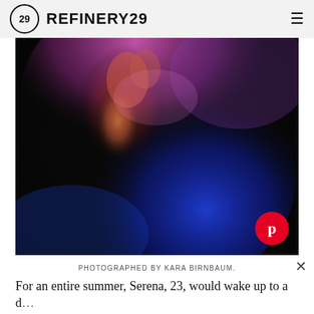REFINERY29
[Figure (photo): Abstract blurred photo of a person with pink and blue neon lighting against a dark background]
PHOTOGRAPHED BY KARA BIRNBAUM.
For an entire summer, Serena, 23, would wake up to a d...